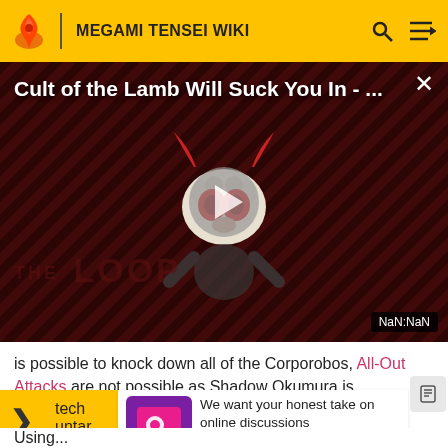MEGAMI TENSEI WIKI
[Figure (screenshot): Video thumbnail showing 'Cult of the Lamb Will Suck You In - ...' with a cartoon lamb character on a dark striped background, a play button in the center, 'THE LOOP' text watermark, and NaN:NaN timer overlay]
is possible to knock down all of the Corporobos, All-Out Attacks are not possible as Shadow Okumura is tech... untar...
[Figure (infographic): Survey notification banner: icon with game controller graphic, text 'We want your honest take on online discussions', label 'SURVEY: ONLINE FORUMS']
Using...